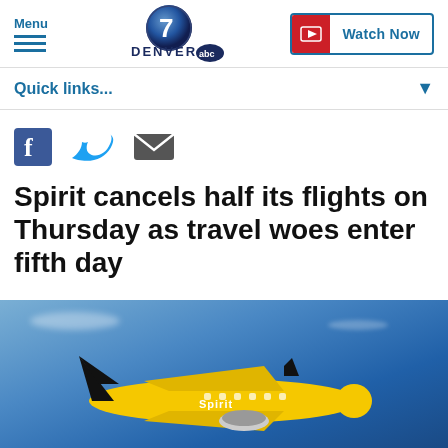Menu | Denver 7 ABC | Watch Now
Quick links...
[Figure (other): Social sharing icons: Facebook, Twitter, Email]
Spirit cancels half its flights on Thursday as travel woes enter fifth day
[Figure (photo): Yellow Spirit Airlines airplane flying against a blue sky]